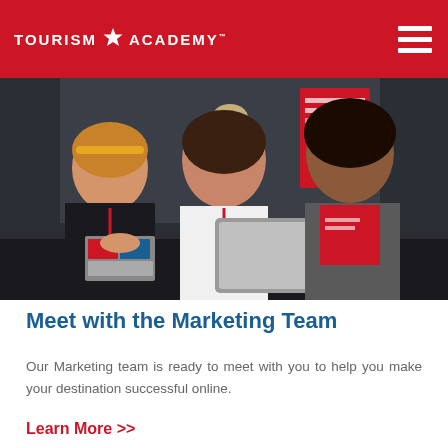TOURISM ★ ACADEMY™
[Figure (photo): Three women gathered around a table looking at a tablet. They are in a conference or hotel lobby setting. One woman has a yellow headband and black jacket with a red lanyard, the middle woman wears white sleeveless top with a red lanyard, and the third woman wears a red Tourism Academy t-shirt and grey cardigan.]
Meet with the Marketing Team
Our Marketing team is ready to meet with you to help you make your destination successful online.
Learn More >>